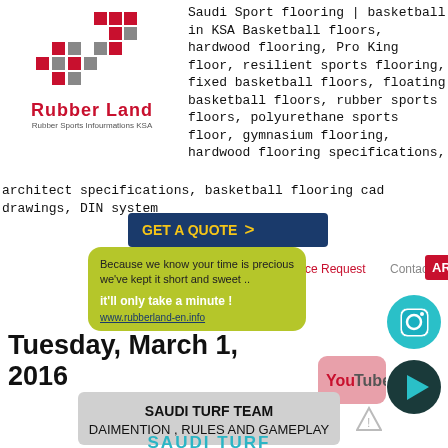[Figure (logo): Rubber Land logo with red and grey mosaic squares and text 'Rubber Land' in red, subtitle 'Rubber Sports Infourmations KSA']
Saudi Sport flooring | basketball in KSA Basketball floors, hardwood flooring, Pro King floor, resilient sports flooring, fixed basketball floors, floating basketball floors, rubber sports floors, polyurethane sports floor, gymnasium flooring, hardwood flooring specifications, architect specifications, basketball flooring cad drawings, DIN system...n
[Figure (other): GET A QUOTE > button in dark blue with yellow text]
[Figure (other): Yellow-green speech bubble: 'Because we know your time is precious we've kept it short and sweet .. it'll only take a minute!' with URL www.rubberland-en.info]
ce Request   Contact   AR
Tuesday, March 1, 2016
[Figure (other): Social media icons: Instagram camera icon (teal circle), YouTube button (pink rounded square), play button (dark teal circle)]
SAUDI TURF TEAM
daimention , Rules and gameplay
SAUDI TURF